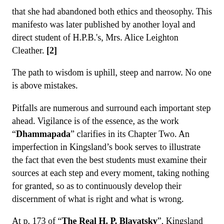that she had abandoned both ethics and theosophy. This manifesto was later published by another loyal and direct student of H.P.B.'s, Mrs. Alice Leighton Cleather. [2]
The path to wisdom is uphill, steep and narrow. No one is above mistakes.
Pitfalls are numerous and surround each important step ahead. Vigilance is of the essence, as the work “Dhammapada” clarifies in its Chapter Two. An imperfection in Kingsland’s book serves to illustrate the fact that even the best students must examine their sources at each step and every moment, taking nothing for granted, so as to continuously develop their discernment of what is right and what is wrong.
At p. 173 of “The Real H. P. Blavatsky”, Kingsland refers en passant to “The Tibetan Book of the Dead” as if it were a legitimate Buddhist book and useful to students of theosophy. He most likely never read the book. If he had